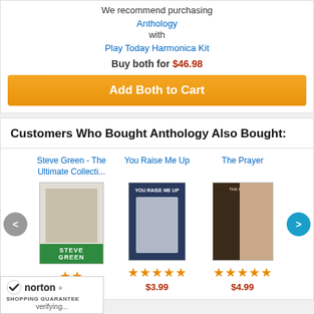We recommend purchasing
Anthology
with
Play Today Harmonica Kit
Buy both for $46.98
Add Both to Cart
Customers Who Bought Anthology Also Bought:
Steve Green - The Ultimate Collecti...
You Raise Me Up
The Prayer
$3.99
$4.99